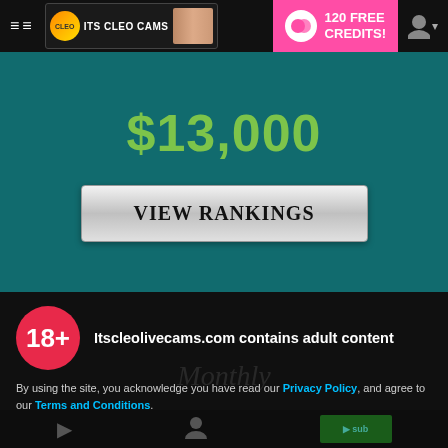≡ CLEO ITS CLEO CAMS | 120 FREE CREDITS!
$13,000
VIEW RANKINGS
[Figure (screenshot): 18+ badge circle in red]
Itscleolivecams.com contains adult content
By using the site, you acknowledge you have read our Privacy Policy, and agree to our Terms and Conditions.
We use cookies to optimize your experience, analyze traffic, and deliver more personalized service. To learn more, please see our Privacy Policy.
I AGREE